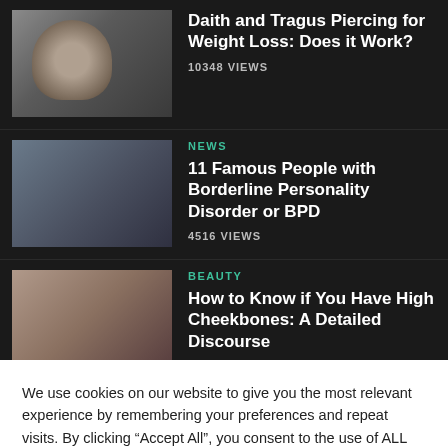[Figure (photo): Close-up photo of a human ear]
Daith and Tragus Piercing for Weight Loss: Does it Work?
10348 VIEWS
NEWS
[Figure (photo): Two people, one appearing distressed, in a room with plants]
11 Famous People with Borderline Personality Disorder or BPD
4516 VIEWS
BEAUTY
[Figure (photo): Portrait of a woman with makeup highlighting her cheekbones]
How to Know if You Have High Cheekbones: A Detailed Discourse
We use cookies on our website to give you the most relevant experience by remembering your preferences and repeat visits. By clicking “Accept All”, you consent to the use of ALL the cookies. However, you may visit “Cookie Settings” to provide a controlled consent.